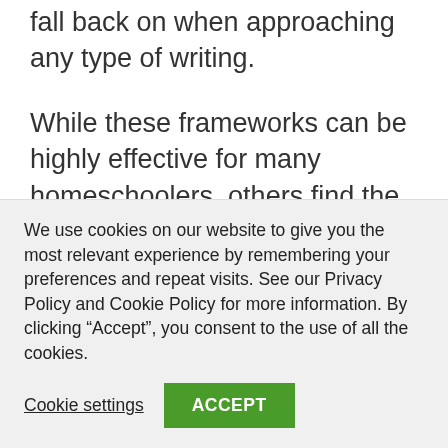fall back on when approaching any type of writing.
While these frameworks can be highly effective for many homeschoolers, others find the approach fairly mechanical and argue that their rigid methodology, while organized, forces kids into writing a certain way and can extinguish the spark of creativity, so to speak.
We use cookies on our website to give you the most relevant experience by remembering your preferences and repeat visits. See our Privacy Policy and Cookie Policy for more information. By clicking “Accept”, you consent to the use of all the cookies.
Cookie settings
ACCEPT